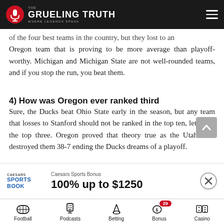THE GRUELING TRUTH — WHERE LEGENDS SPEAK
of the four best teams in the country, but they lost to an Oregon team that is proving to be more average than playoff-worthy. Michigan and Michigan State are not well-rounded teams, and if you stop the run, you beat them.
4) How was Oregon ever ranked third
Sure, the Ducks beat Ohio State early in the season, but any team that losses to Stanford should not be ranked in the top ten, let alone the top three. Oregon proved that theory true as the Utah Utes destroyed them 38-7 ending the Ducks dreams of a playoff.
5) Is Notre Dame a playoff contender
Caesars Sports Bonus
100% up to $1250
Football | Podcasts | Betting | Bonus 29 | Casino